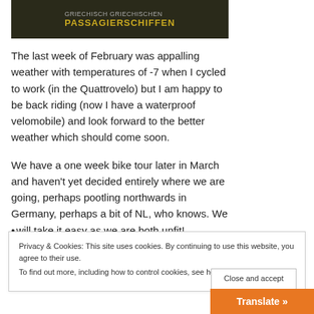[Figure (screenshot): Screenshot of a social media video thumbnail showing text 'PASSAGIERSCHIFFEN' in gold/yellow on dark background]
The last week of February was appalling weather with temperatures of -7 when I cycled to work (in the Quattrovelo) but I am happy to be back riding (now I have a waterproof velomobile) and look forward to the better weather which should come soon.
We have a one week bike tour later in March and haven't yet decided entirely where we are going, perhaps pootling northwards in Germany, perhaps a bit of NL, who knows. We will take it easy as we are both unfit!
Privacy & Cookies: This site uses cookies. By continuing to use this website, you agree to their use.
To find out more, including how to control cookies, see here: Cookie Policy
Close and accept
Translate »